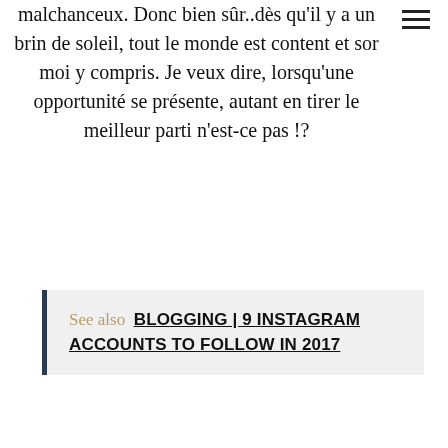malchanceux. Donc bien sûr..dès qu'il y a un brin de soleil, tout le monde est content et sor moi y compris. Je veux dire, lorsqu'une opportunité se présente, autant en tirer le meilleur parti n'est-ce pas !?
See also  BLOGGING | 9 INSTAGRAM ACCOUNTS TO FOLLOW IN 2017
* * *